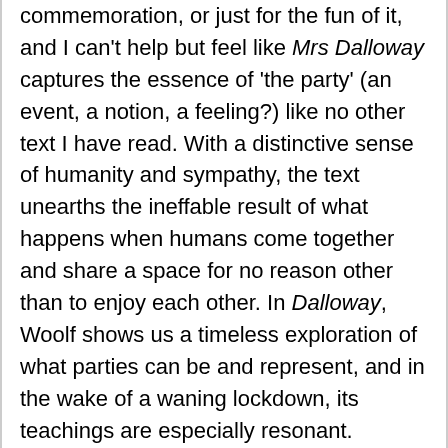commemoration, or just for the fun of it, and I can't help but feel like Mrs Dalloway captures the essence of 'the party' (an event, a notion, a feeling?) like no other text I have read. With a distinctive sense of humanity and sympathy, the text unearths the ineffable result of what happens when humans come together and share a space for no reason other than to enjoy each other. In Dalloway, Woolf shows us a timeless exploration of what parties can be and represent, and in the wake of a waning lockdown, its teachings are especially resonant.
I am struggling to give any kind of comprehensive synopsis for this text. What springs to mind is a memory of studying Mrs Dalloway at A-level and learning that Virginia Woolf intended the novel to